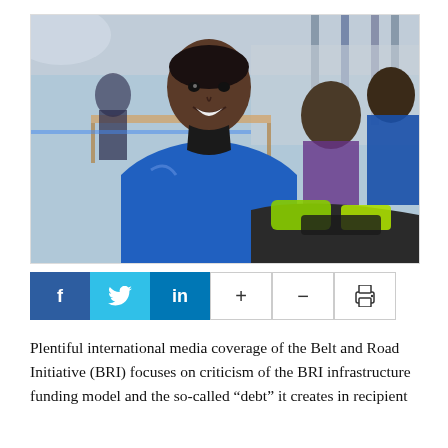[Figure (photo): Workers in blue uniforms in an industrial or workshop setting; foreground shows a smiling young man in a blue jacket, with others working in the background]
[Figure (infographic): Social media sharing bar with Facebook (f), Twitter (bird icon), LinkedIn (in) buttons in color, plus (+), minus (-), and print (printer icon) buttons with outline style]
Plentiful international media coverage of the Belt and Road Initiative (BRI) focuses on criticism of the BRI infrastructure funding model and the so-called “debt” it creates in recipient